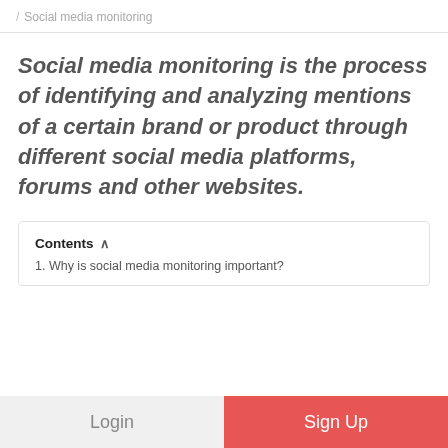/ Social media monitoring
Social media monitoring is the process of identifying and analyzing mentions of a certain brand or product through different social media platforms, forums and other websites.
Contents
1. Why is social media monitoring important?